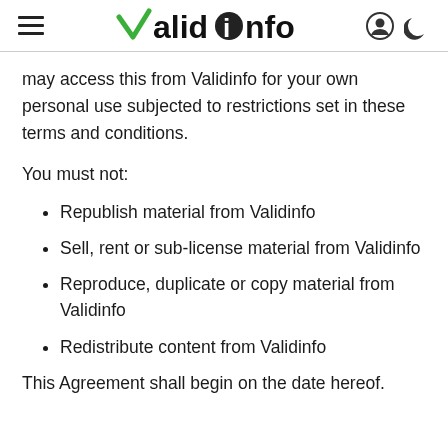ValidInfo
may access this from Validinfo for your own personal use subjected to restrictions set in these terms and conditions.
You must not:
Republish material from Validinfo
Sell, rent or sub-license material from Validinfo
Reproduce, duplicate or copy material from Validinfo
Redistribute content from Validinfo
This Agreement shall begin on the date hereof.